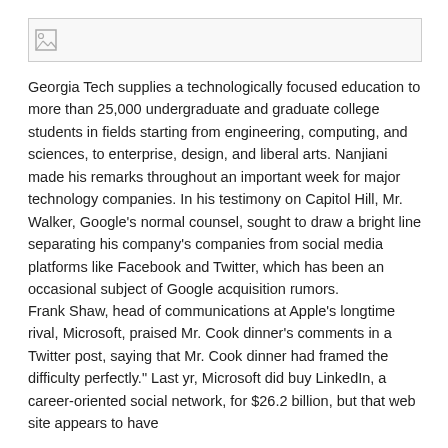[Figure (other): Broken image placeholder at top of page]
Georgia Tech supplies a technologically focused education to more than 25,000 undergraduate and graduate college students in fields starting from engineering, computing, and sciences, to enterprise, design, and liberal arts. Nanjiani made his remarks throughout an important week for major technology companies. In his testimony on Capitol Hill, Mr. Walker, Google's normal counsel, sought to draw a bright line separating his company's companies from social media platforms like Facebook and Twitter, which has been an occasional subject of Google acquisition rumors.
Frank Shaw, head of communications at Apple's longtime rival, Microsoft, praised Mr. Cook dinner's comments in a Twitter post, saying that Mr. Cook dinner had framed the difficulty perfectly." Last yr, Microsoft did buy LinkedIn, a career-oriented social network, for $26.2 billion, but that web site appears to have